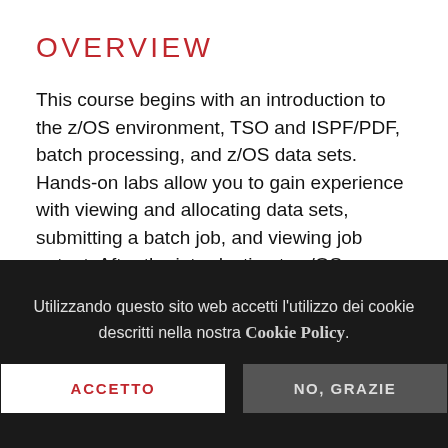OVERVIEW
This course begins with an introduction to the z/OS environment, TSO and ISPF/PDF, batch processing, and z/OS data sets. Hands-on labs allow you to gain experience with viewing and allocating data sets, submitting a batch job, and viewing job output. After the introduction to z/OS, you will then learn, through lecture and exercises, how to use basic RACF command parameters and panels to define
Utilizzando questo sito web accetti l'utilizzo dei cookie descritti nella nostra Cookie Policy.
ACCETTO
NO, GRAZIE